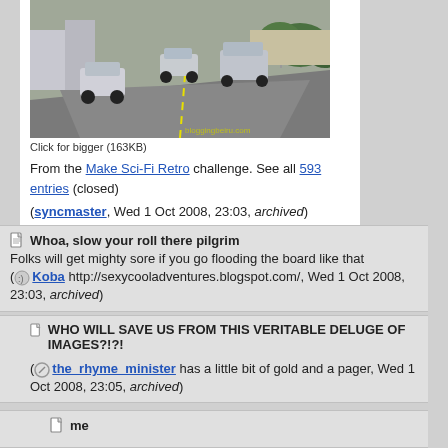[Figure (photo): A road/highway scene showing vehicles from a dashcam or car perspective, with guardrail on the right and trees/vegetation. Watermark reads 'bloggingbeiru.com' or similar.]
Click for bigger (163KB)
From the Make Sci-Fi Retro challenge. See all 593 entries (closed)
(syncmaster, Wed 1 Oct 2008, 23:03, archived)
Whoa, slow your roll there pilgrim
Folks will get mighty sore if you go flooding the board like that
(Koba http://sexycooladventures.blogspot.com/, Wed 1 Oct 2008, 23:03, archived)
WHO WILL SAVE US FROM THIS VERITABLE DELUGE OF IMAGES?!?!
(the_rhyme_minister has a little bit of gold and a pager, Wed 1 Oct 2008, 23:05, archived)
me